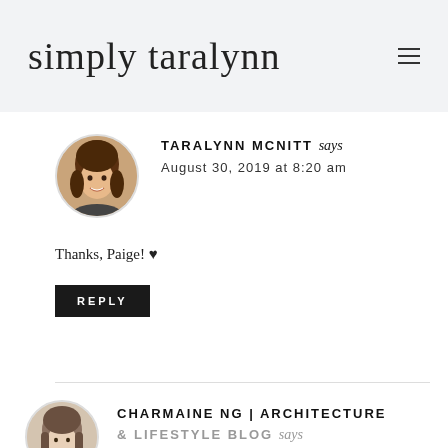simply taralynn
TARALYNN MCNITT says
August 30, 2019 at 8:20 am
Thanks, Paige! ♥
REPLY
CHARMAINE NG | ARCHITECTURE & LIFESTYLE BLOG says
August 30, 2019 at 1:29 am